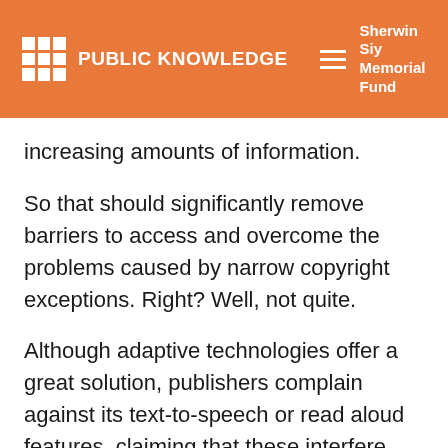PUBLIC KNOWLEDGE | Sherwin Siy Memorial Fund | Donate
increasing amounts of information.
So that should significantly remove barriers to access and overcome the problems caused by narrow copyright exceptions. Right? Well, not quite.
Although adaptive technologies offer a great solution, publishers complain against its text-to-speech or read aloud features, claiming that these interfere with their audio rights. Under pressure